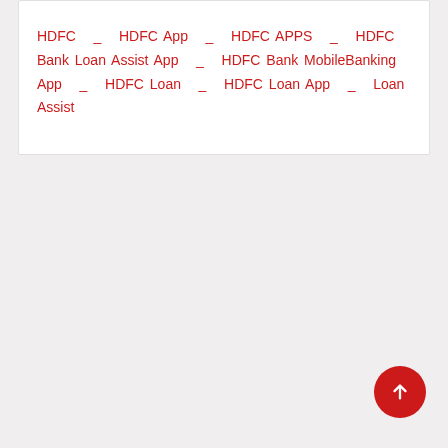HDFC _ HDFC App _ HDFC APPS _ HDFC Bank Loan Assist App _ HDFC Bank MobileBanking App _ HDFC Loan _ HDFC Loan App _ Loan Assist
[Figure (other): Red circular scroll-to-top button with white upward arrow]